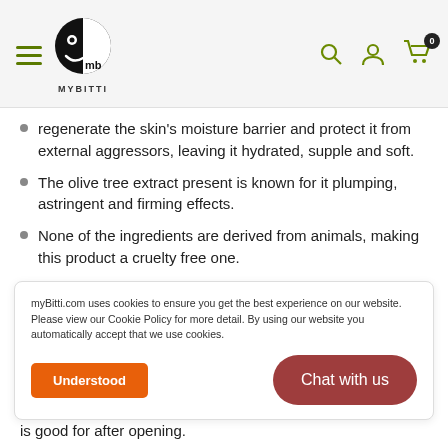MyBitti header with hamburger menu, logo, search, account, and cart icons
regenerate the skin's moisture barrier and protect it from external aggressors, leaving it hydrated, supple and soft.
The olive tree extract present is known for it plumping, astringent and firming effects.
None of the ingredients are derived from animals, making this product a cruelty free one.
Outside The Bottle:
All products are produced at a cosmetic grade standard (cGMP) facility.
myBitti.com uses cookies to ensure you get the best experience on our website. Please view our Cookie Policy for more detail. By using our website you automatically accept that we use cookies.
is good for after opening.